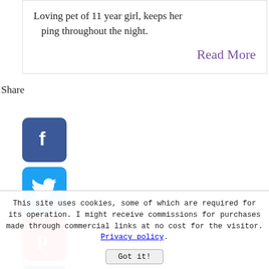Loving pet of 11 year girl, keeps her [...]ping throughout the night.
Share
Read More
[Figure (illustration): Social media share icons: Facebook, Twitter, Pinterest, Tumblr, Reddit, WhatsApp]
ippets 101
ne
ppet Info
This site uses cookies, some of which are required for its operation. I might receive commissions for purchases made through commercial links at no cost for the visitor. Privacy policy. Got it!